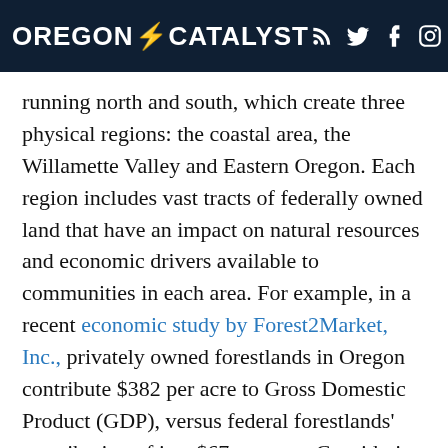OREGON CATALYST
running north and south, which create three physical regions: the coastal area, the Willamette Valley and Eastern Oregon. Each region includes vast tracts of federally owned land that have an impact on natural resources and economic drivers available to communities in each area. For example, in a recent economic study by Forest2Market, Inc., privately owned forestlands in Oregon contribute $382 per acre to Gross Domestic Product (GDP), versus federal forestlands’ contribution of just $67 per acre. Considering that 59% of Oregon forestlands are federally owned, federal forestland holdings have a significant impact on wealth creation and jobs in rural communities. Rural communities insufficient ability to generate wealth also hinders